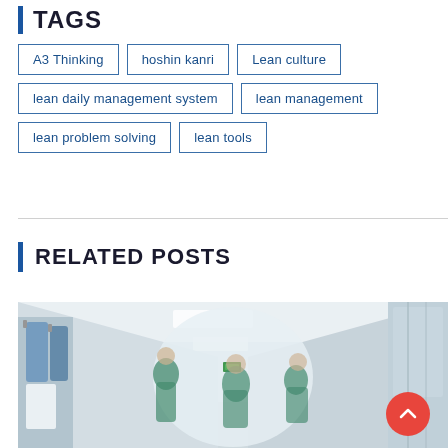TAGS
A3 Thinking
hoshin kanri
Lean culture
lean daily management system
lean management
lean problem solving
lean tools
RELATED POSTS
[Figure (photo): Hospital corridor with medical staff wearing scrubs, blurred motion, bright white hallway with clinical supplies and garments hanging on left side, glass-partitioned rooms on right.]